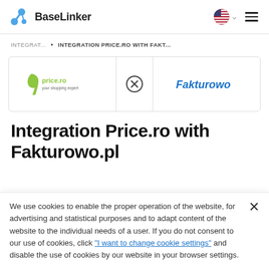BaseLinker
INTEGRAT... • INTEGRATION PRICE.RO WITH FAKT...
[Figure (logo): Integration banner showing price.ro logo on the left, an X (incompatibility/connection) symbol in the middle, and Fakturowo logo on the right, separated by vertical dividers]
Integration Price.ro with Fakturowo.pl
We use cookies to enable the proper operation of the website, for advertising and statistical purposes and to adapt content of the website to the individual needs of a user. If you do not consent to our use of cookies, click "I want to change cookie settings" and disable the use of cookies by our website in your browser settings.